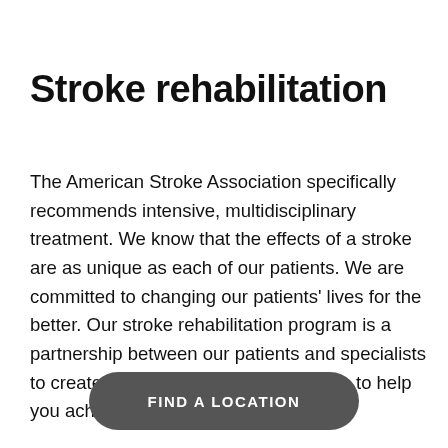Stroke rehabilitation
The American Stroke Association specifically recommends intensive, multidisciplinary treatment. We know that the effects of a stroke are as unique as each of our patients. We are committed to changing our patients' lives for the better. Our stroke rehabilitation program is a partnership between our patients and specialists to create a personalized treatment plan to help you achieve our goals.
FIND A LOCATION